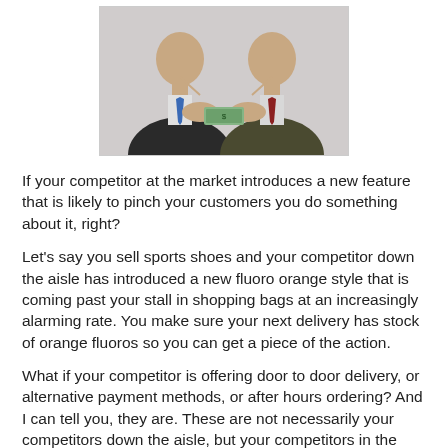[Figure (photo): Two businessmen in suits examining or exchanging a dollar bill, heads close together, photographed on a white background.]
If your competitor at the market introduces a new feature that is likely to pinch your customers you do something about it, right?
Let's say you sell sports shoes and your competitor down the aisle has introduced a new fluoro orange style that is coming past your stall in shopping bags at an increasingly alarming rate. You make sure your next delivery has stock of orange fluoros so you can get a piece of the action.
What if your competitor is offering door to door delivery, or alternative payment methods, or after hours ordering? And I can tell you, they are. These are not necessarily your competitors down the aisle, but your competitors in the wider shopping environment - the worldwide shopping